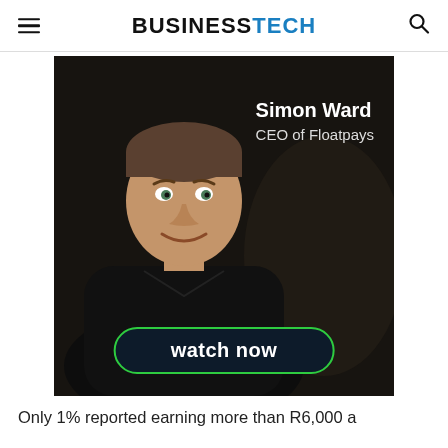BUSINESSTECH
[Figure (photo): Advertisement featuring Simon Ward, CEO of Floatpays, a man in a black shirt against a dark background with a 'watch now' call-to-action button]
Only 1% reported earning more than R6,000 a